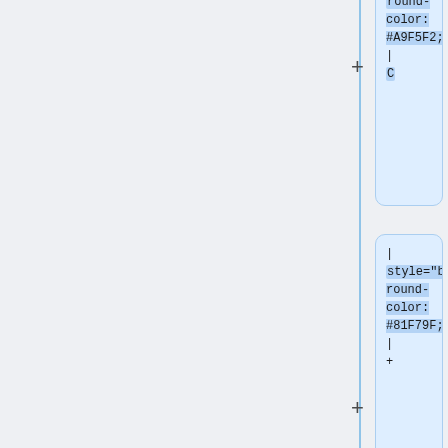[Figure (screenshot): A diff/merge view showing code boxes with wiki table style markup. Top-right blue box shows 'round-color: #A9F5F2;" | C'. Middle-right blue box shows '| style="background-round-color: #81F79F;" | +'. Bottom-left white box shows '| style="background-round-color: #81F79F;" | +'. Bottom-right white box shows '| style="background-round-color: #81F79F;" | +'. Bottom yellow box shows '| style="background-round-' with a minus sign.]